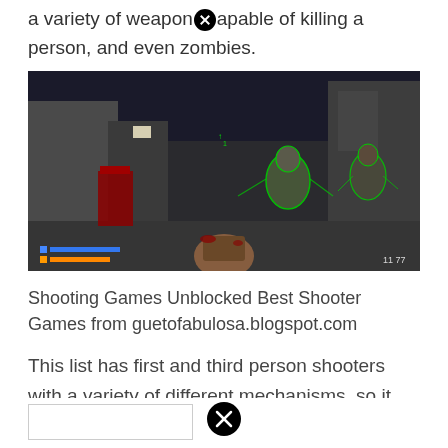a variety of weapons capable of killing a person, and even zombies.
[Figure (screenshot): First-person shooter game screenshot showing a soldier in combat with enemies, with health and ammo bars visible at the bottom left corner. Dark urban environment.]
Shooting Games Unblocked Best Shooter Games from guetofabulosa.blogspot.com
This list has first and third person shooters with a variety of different mechanisms, so it could be a true list of the best shooting games for android. Use a variety of weapons capable of killing a person, and even zombies. Find out how they differ.